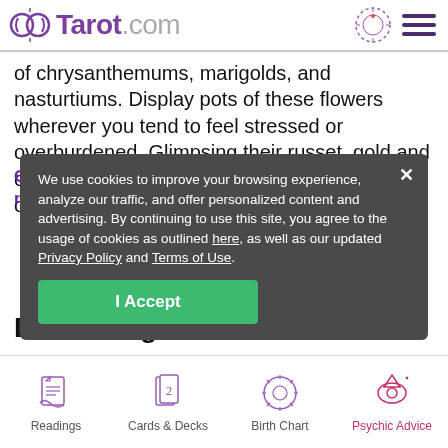Tarot.com
of chrysanthemums, marigolds, and nasturtiums. Display pots of these flowers wherever you tend to feel stressed or overburdened. Glimpsing their russet, gold and orange hues will be like rubbing soothing salve over sunburned skin.
We use cookies to improve your browsing experience, analyze our traffic, and offer personalized content and advertising. By continuing to use this site, you agree to the usage of cookies as outlined here, as well as our updated Privacy Policy and Terms of Use.
I Accept
Dim the lights
Readings  Cards & Decks  Birth Chart  Psychic Advice